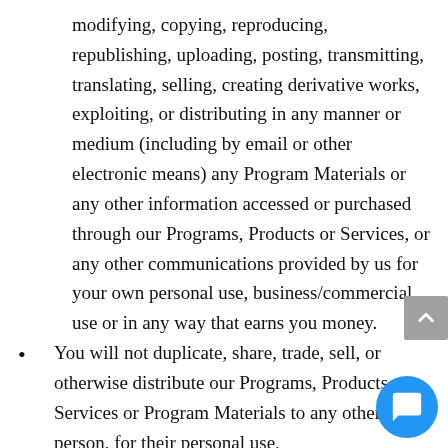modifying, copying, reproducing, republishing, uploading, posting, transmitting, translating, selling, creating derivative works, exploiting, or distributing in any manner or medium (including by email or other electronic means) any Program Materials or any other information accessed or purchased through our Programs, Products or Services, or any other communications provided by us for your own personal use, business/commercial use or in any way that earns you money.
You will not duplicate, share, trade, sell, or otherwise distribute our Programs, Products, Services or Program Materials to any other person, for their personal use, business/commercial use or in any way that earns them money, whether it was known to you